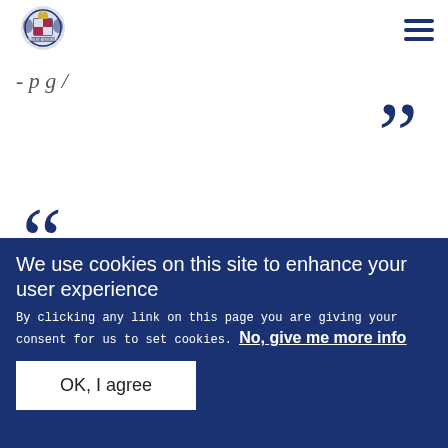UK Government website header with royal coat of arms logo and hamburger menu
- p g /
”
“
All great religions have such times of renewal,
We use cookies on this site to enhance your user experience
By clicking any link on this page you are giving your consent for us to set cookies. No, give me more info
OK, I agree